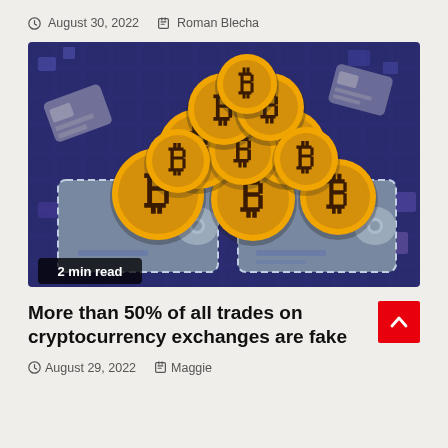August 30, 2022  Roman Blecha
[Figure (illustration): Illustration of multiple gold Bitcoin coins piled up between two grey digital wallets on a dark blue digital/tech background. Badge reads '2 min read'.]
More than 50% of all trades on cryptocurrency exchanges are fake
August 29, 2022  Maggie